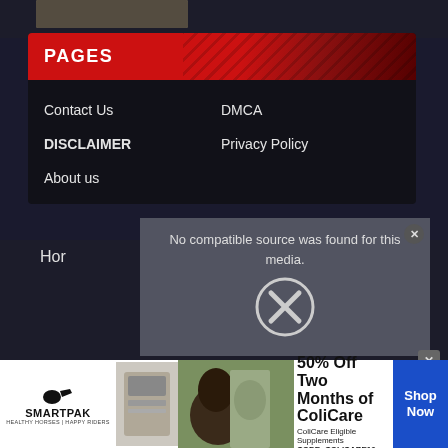[Figure (screenshot): Dark background with partial image at top and a navigation card widget below it]
PAGES
Contact Us
DMCA
DISCLAIMER
Privacy Policy
About us
Hor
[Figure (screenshot): Video player error overlay showing 'No compatible source was found for this media.' with an X circle icon and close button]
[Figure (photo): SmartPak advertisement banner: 50% Off Two Months of ColiCare, ColiCare Eligible Supplements, CODE: COLICARE10, Shop Now button]